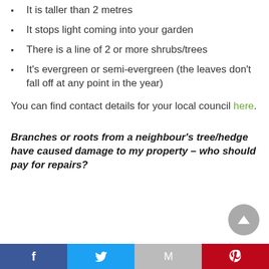It is taller than 2 metres
It stops light coming into your garden
There is a line of 2 or more shrubs/trees
It's evergreen or semi-evergreen (the leaves don't fall off at any point in the year)
You can find contact details for your local council here.
Branches or roots from a neighbour's tree/hedge have caused damage to my property – who should pay for repairs?
Facebook Twitter Gmail Pinterest